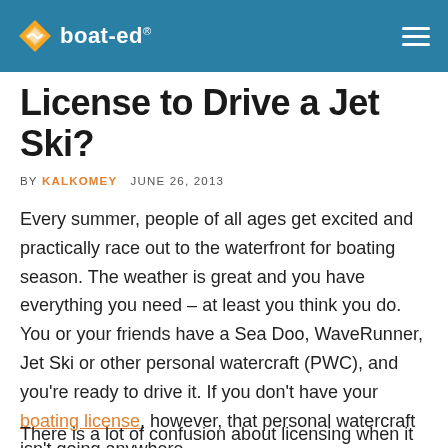boat-ed®
License to Drive a Jet Ski?
BY KALKOMEY   JUNE 26, 2013
Every summer, people of all ages get excited and practically race out to the waterfront for boating season. The weather is great and you have everything you need – at least you think you do. You or your friends have a Sea Doo, WaveRunner, Jet Ski or other personal watercraft (PWC), and you're ready to drive it. If you don't have your boating license, however, that personal watercraft isn't going anywhere.
There is a lot of confusion about licensing when it